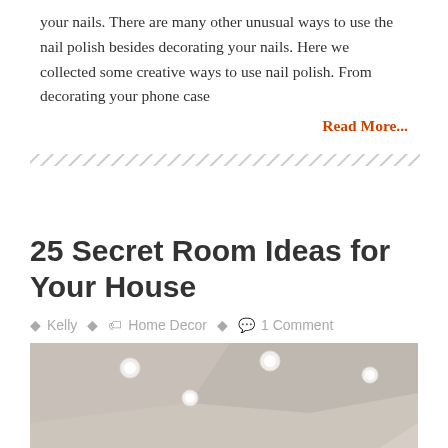your nails. There are many other unusual ways to use the nail polish besides decorating your nails. Here we collected some creative ways to use nail polish. From decorating your phone case
Read More...
[Figure (other): Diagonal hatching divider pattern]
25 Secret Room Ideas for Your House
Kelly  Home Decor  1 Comment
[Figure (photo): Interior photo of a room with a white ceiling featuring recessed lighting and colorful circular decorative elements (pink, red, orange dots) on the floor/ceiling, creating an artistic secret room concept.]